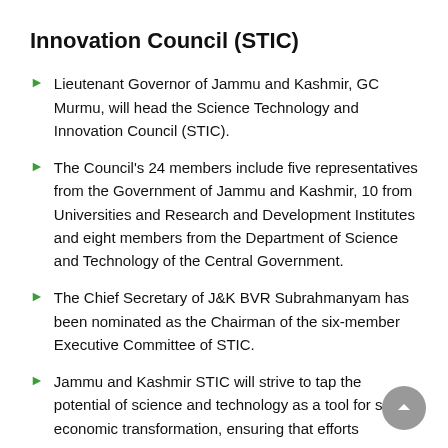Innovation Council (STIC)
Lieutenant Governor of Jammu and Kashmir, GC Murmu, will head the Science Technology and Innovation Council (STIC).
The Council's 24 members include five representatives from the Government of Jammu and Kashmir, 10 from Universities and Research and Development Institutes and eight members from the Department of Science and Technology of the Central Government.
The Chief Secretary of J&K BVR Subrahmanyam has been nominated as the Chairman of the six-member Executive Committee of STIC.
Jammu and Kashmir STIC will strive to tap the potential of science and technology as a tool for socio-economic transformation, ensuring that efforts